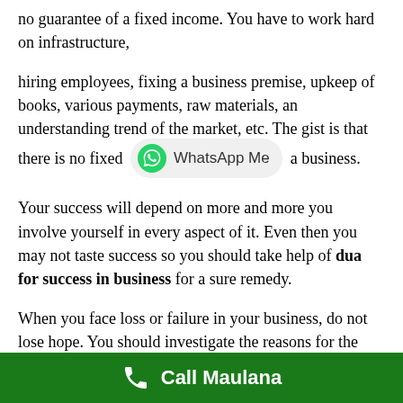no guarantee of a fixed income. You have to work hard on infrastructure,
hiring employees, fixing a business premise, upkeep of books, various payments, raw materials, an understanding trend of the market, etc. The gist is that there is no fixed income in a business.
Your success will depend on more and more you involve yourself in every aspect of it. Even then you may not taste success so you should take help of dua for success in business for a sure remedy.
When you face loss or failure in your business, do not lose hope. You should investigate the reasons for the loss. You may be lacking in charting out a perfect plan for your business.
Besides that, it is also possible that your enemies have used
[Figure (other): WhatsApp Me button overlay — green WhatsApp logo icon with pill-shaped button labeled 'WhatsApp Me']
Call Maulana